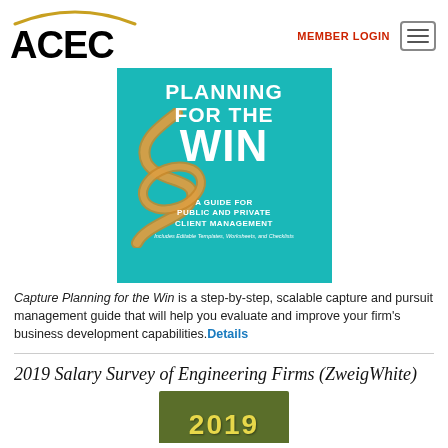ACEC | MEMBER LOGIN
[Figure (illustration): Book cover for 'Planning for the Win: A Guide for Public and Private Client Management' on a teal/turquoise background with a rope tied in a knot forming an S-curve. Text: PLANNING FOR THE WIN. A GUIDE FOR PUBLIC AND PRIVATE CLIENT MANAGEMENT. Includes Editable Templates, Worksheets, and Checklists.]
Capture Planning for the Win is a step-by-step, scalable capture and pursuit management guide that will help you evaluate and improve your firm's business development capabilities. Details
2019 Salary Survey of Engineering Firms (ZweigWhite)
[Figure (photo): Partial view of a book cover showing '2019' in yellow text on a dark olive/green background.]